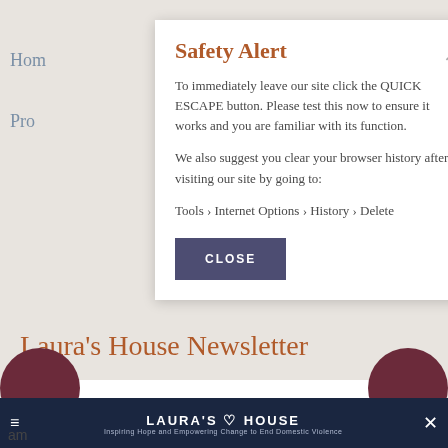Hom
Pro
Safety Alert
To immediately leave our site click the QUICK ESCAPE button. Please test this now to ensure it works and you are familiar with its function.
We also suggest you clear your browser history after visiting our site by going to:
Tools › Internet Options › History › Delete
CLOSE
Laura's House Newsletter
Enter Your Email Address
[Figure (screenshot): Bottom dark overlay bar showing Laura's House logo with close button X]
LAURA'S HOUSE
Inspiring Hope and Empowering Change to End Domestic Violence
am